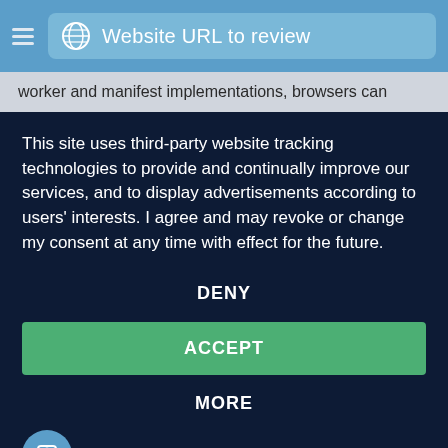[Figure (screenshot): Browser address bar with globe icon and text 'Website URL to review' on blue background]
worker and manifest implementations, browsers can
This site uses third-party website tracking technologies to provide and continually improve our services, and to display advertisements according to users' interests. I agree and may revoke or change my consent at any time with effect for the future.
DENY
ACCEPT
MORE
Powered by usercentrics & eRecht24